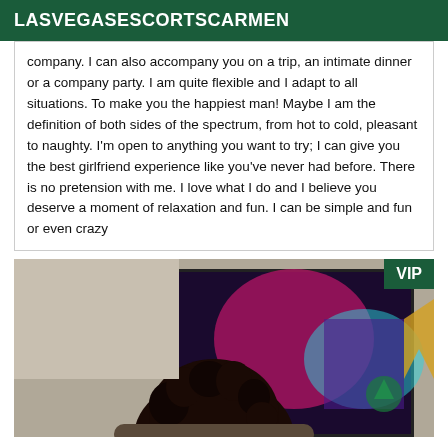LASVEGASESCORTSCARMEN
company. I can also accompany you on a trip, an intimate dinner or a company party. I am quite flexible and I adapt to all situations. To make you the happiest man! Maybe I am the definition of both sides of the spectrum, from hot to cold, pleasant to naughty. I'm open to anything you want to try; I can give you the best girlfriend experience like you've never had before. There is no pretension with me. I love what I do and I believe you deserve a moment of relaxation and fun. I can be simple and fun or even crazy
[Figure (photo): Person with curly dark hair seen from behind, sitting in front of a colorful TV/monitor display. VIP badge in top right corner.]